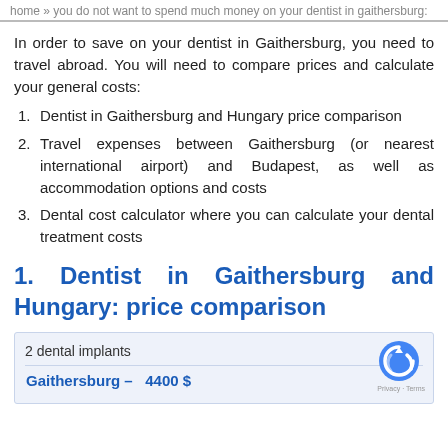home » you do not want to spend much money on your dentist in gaithersburg:
In order to save on your dentist in Gaithersburg, you need to travel abroad. You will need to compare prices and calculate your general costs:
Dentist in Gaithersburg and Hungary price comparison
Travel expenses between Gaithersburg (or nearest international airport) and Budapest, as well as accommodation options and costs
Dental cost calculator where you can calculate your dental treatment costs
1. Dentist in Gaithersburg and Hungary: price comparison
| 2 dental implants |
| Gaithersburg –   4400 $ |